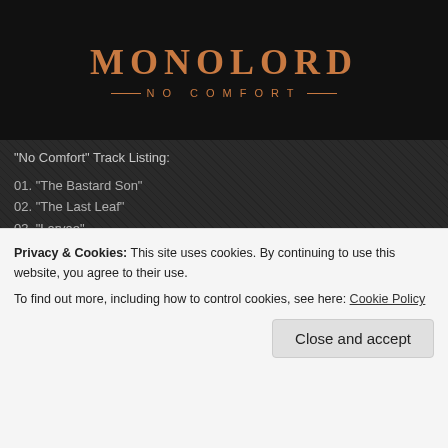[Figure (illustration): Album cover / header image for Monolord 'No Comfort' showing the band name in large copper/orange serif letters on black background with decorative subtitle line]
“No Comfort” Track Listing:
01. “The Bastard Son”
02. “The Last Leaf”
03. “Larvae”
04. “Skywards”
05. “Alone Together Forever Divided”
06. “No Comfort”
The group recorded the album with Kim Gravander at Let Them Swing Studio, Sweden and they had the following to say about it:
Privacy & Cookies: This site uses cookies. By continuing to use this website, you agree to their use.
To find out more, including how to control cookies, see here: Cookie Policy